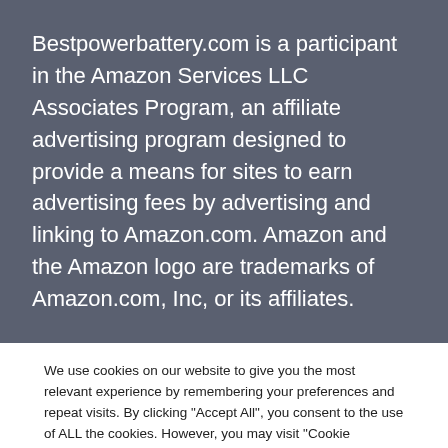Bestpowerbattery.com is a participant in the Amazon Services LLC Associates Program, an affiliate advertising program designed to provide a means for sites to earn advertising fees by advertising and linking to Amazon.com. Amazon and the Amazon logo are trademarks of Amazon.com, Inc, or its affiliates.
We use cookies on our website to give you the most relevant experience by remembering your preferences and repeat visits. By clicking "Accept All", you consent to the use of ALL the cookies. However, you may visit "Cookie Settings" to provide a controlled consent.